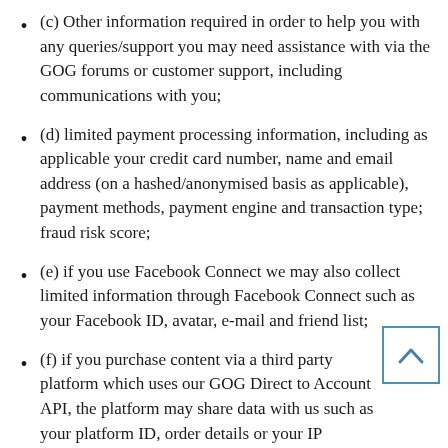(c) Other information required in order to help you with any queries/support you may need assistance with via the GOG forums or customer support, including communications with you;
(d) limited payment processing information, including as applicable your credit card number, name and email address (on a hashed/anonymised basis as applicable), payment methods, payment engine and transaction type; fraud risk score;
(e) if you use Facebook Connect we may also collect limited information through Facebook Connect such as your Facebook ID, avatar, e-mail and friend list;
(f) if you purchase content via a third party platform which uses our GOG Direct to Account API, the platform may share data with us such as your platform ID, order details or your IP address;
(g) any other information which you supply us via our